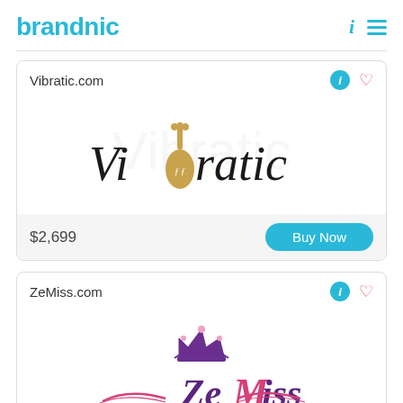brandnic
[Figure (logo): Vibratic.com domain listing card with Vibratic logo (stylized script with guitar/violin motif), price $2,699 and Buy Now button]
[Figure (logo): ZeMiss.com domain listing card with ZeMiss logo (purple and pink crown and cursive script)]